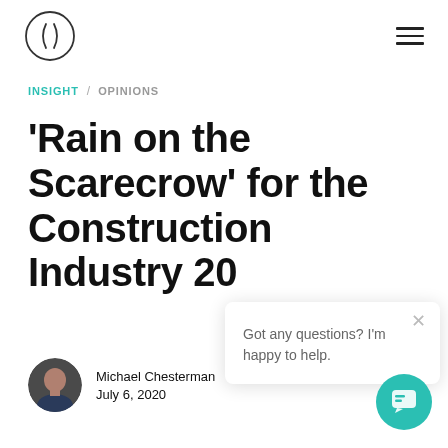[Figure (logo): Circular logo with parentheses-like symbol inside a thin circle ring]
Navigation header with logo and hamburger menu
INSIGHT / OPINIONS
'Rain on the Scarecrow' for the Construction Industry 20
[Figure (photo): Author headshot: bald older man in dark clothing]
Michael Chesterman
July 6, 2020
Got any questions? I'm happy to help.